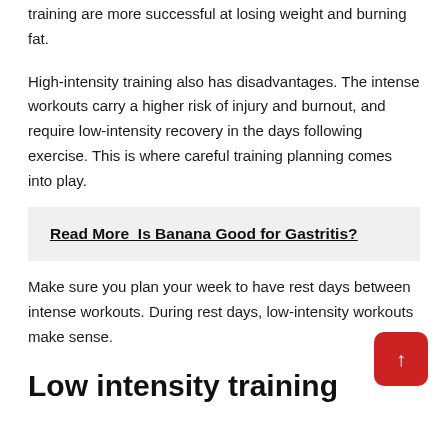training are more successful at losing weight and burning fat.
High-intensity training also has disadvantages. The intense workouts carry a higher risk of injury and burnout, and require low-intensity recovery in the days following exercise. This is where careful training planning comes into play.
Read More  Is Banana Good for Gastritis?
Make sure you plan your week to have rest days between intense workouts. During rest days, low-intensity workouts make sense.
Low intensity training